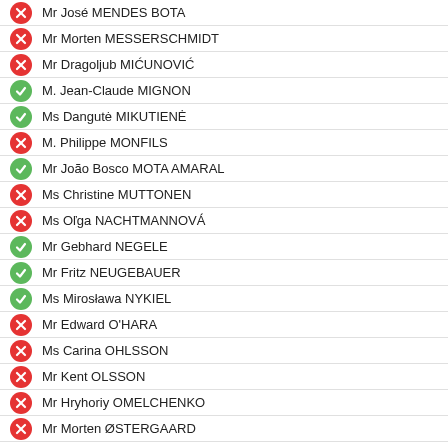Mr José MENDES BOTA
Mr Morten MESSERSCHMIDT
Mr Dragoljub MIĆUNOVIĆ
M. Jean-Claude MIGNON
Ms Dangutė MIKUTIENĖ
M. Philippe MONFILS
Mr João Bosco MOTA AMARAL
Ms Christine MUTTONEN
Ms Oľga NACHTMANNOVÁ
Mr Gebhard NEGELE
Mr Fritz NEUGEBAUER
Ms Mirosława NYKIEL
Mr Edward O'HARA
Ms Carina OHLSSON
Mr Kent OLSSON
Mr Hryhoriy OMELCHENKO
Mr Morten ØSTERGAARD